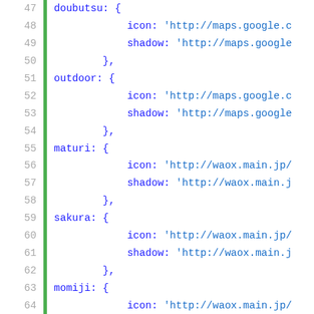Code listing lines 47-72 showing JavaScript/JSON object with keys: doubutsu, outdoor, maturi, sakura, momiji, kaisui, mikaku, each with icon and shadow URL properties.